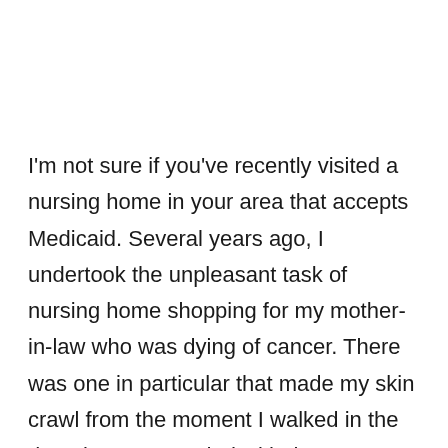I'm not sure if you've recently visited a nursing home in your area that accepts Medicaid. Several years ago, I undertook the unpleasant task of nursing home shopping for my mother-in-law who was dying of cancer. There was one in particular that made my skin crawl from the moment I walked in the door, but I proceeded with the tour. (Thankfully, we found a wonderful place for my mother-in-law to spend her last days in comfort.) But I've never quite rid my